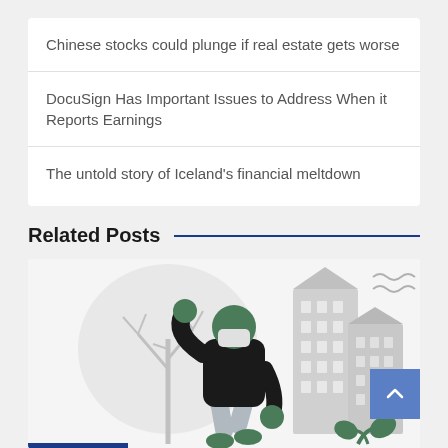Chinese stocks could plunge if real estate gets worse
DocuSign Has Important Issues to Address When it Reports Earnings
The untold story of Iceland's financial meltdown
Related Posts
[Figure (illustration): Illustration of a person wearing a mask and dark clothing, gesturing with one arm raised, standing in front of stylized grey buildings and a bare tree. Green plant elements visible at the bottom.]